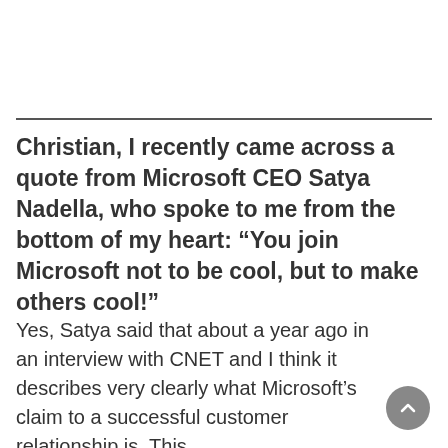Christian, I recently came across a quote from Microsoft CEO Satya Nadella, who spoke to me from the bottom of my heart: “You join Microsoft not to be cool, but to make others cool!”
Yes, Satya said that about a year ago in an interview with CNET and I think it describes very clearly what Microsoft’s claim to a successful customer relationship is. This